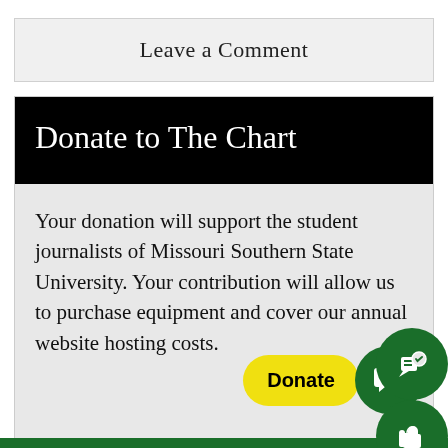Leave a Comment
Donate to The Chart
Your donation will support the student journalists of Missouri Southern State University. Your contribution will allow us to purchase equipment and cover our annual website hosting costs.
[Figure (other): Yellow 'Donate' button with green circle icons for comment and like/thumbs-up overlaid on right side]
[Figure (other): Green horizontal bar at bottom of page]